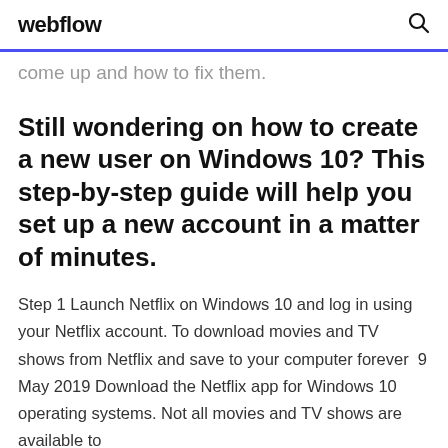webflow
come up and how to fix them.
Still wondering on how to create a new user on Windows 10? This step-by-step guide will help you set up a new account in a matter of minutes.
Step 1 Launch Netflix on Windows 10 and log in using your Netflix account. To download movies and TV shows from Netflix and save to your computer forever  9 May 2019 Download the Netflix app for Windows 10 operating systems. Not all movies and TV shows are available to